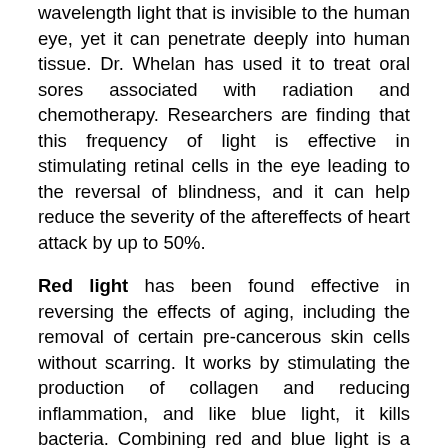wavelength light that is invisible to the human eye, yet it can penetrate deeply into human tissue. Dr. Whelan has used it to treat oral sores associated with radiation and chemotherapy. Researchers are finding that this frequency of light is effective in stimulating retinal cells in the eye leading to the reversal of blindness, and it can help reduce the severity of the aftereffects of heart attack by up to 50%.
Red light has been found effective in reversing the effects of aging, including the removal of certain pre-cancerous skin cells without scarring. It works by stimulating the production of collagen and reducing inflammation, and like blue light, it kills bacteria. Combining red and blue light is a revolutionary treatment for acne.
Aside from its anti-bacterial properties, blue light is the frequency that is most effective at counteracting seasonal affective disorder. Interestingly, blue light can increase alertness and fight insomnia while at the same time helping Alzheimer's patients sleep through the night.
Near-infrared light can also...